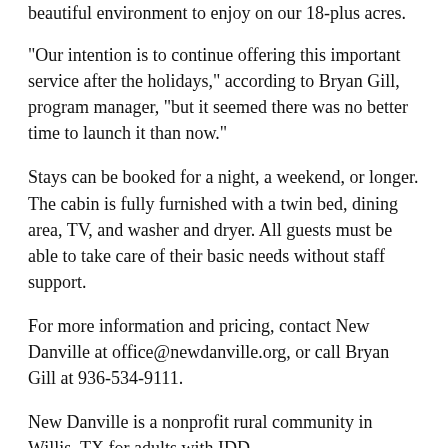beautiful environment to enjoy on our 18-plus acres.
“Our intention is to continue offering this important service after the holidays,” according to Bryan Gill, program manager, “but it seemed there was no better time to launch it than now.”
Stays can be booked for a night, a weekend, or longer. The cabin is fully furnished with a twin bed, dining area, TV, and washer and dryer. All guests must be able to take care of their basic needs without staff support.
For more information and pricing, contact New Danville at office@newdanville.org, or call Bryan Gill at 936-534-9111.
New Danville is a nonprofit rural community in Willis, TX for adults with IDD.
Photos